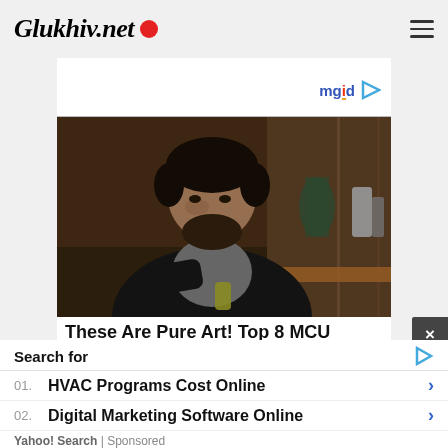Glukhiv.net
[Figure (logo): mgid logo with play button icon]
[Figure (photo): Man with beard sitting in a dark room, wearing a dark hoodie over a grey shirt, holding something, with blurred background shelving]
These Are Pure Art! Top 8 MCU
Search for
01.  HVAC Programs Cost Online
02.  Digital Marketing Software Online
Yahoo! Search | Sponsored